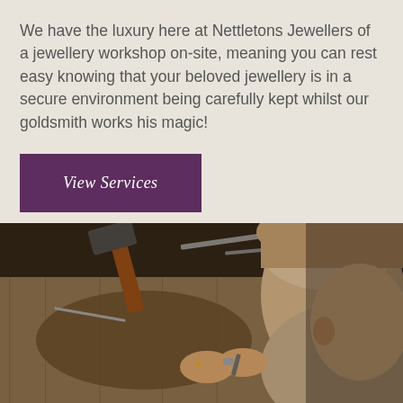We have the luxury here at Nettletons Jewellers of a jewellery workshop on-site, meaning you can rest easy knowing that your beloved jewellery is in a secure environment being carefully kept whilst our goldsmith works his magic!
View Services
[Figure (photo): A goldsmith or jeweller working at a workbench, bent over and carefully handling small jewellery pieces with tools. The bench is dusty and worn with various tools visible including pliers and a hammer with wooden handle in the background.]